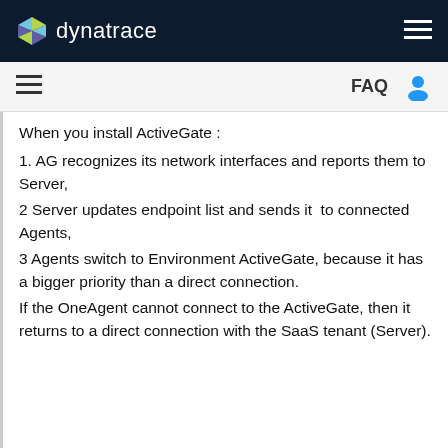dynatrace
When you install ActiveGate :
1. AG recognizes its network interfaces and reports them to Server,
2 Server updates endpoint list and sends it to connected Agents,
3 Agents switch to Environment ActiveGate, because it has a bigger priority than a direct connection.
If the OneAgent cannot connect to the ActiveGate, then it returns to a direct connection with the SaaS tenant (Server).